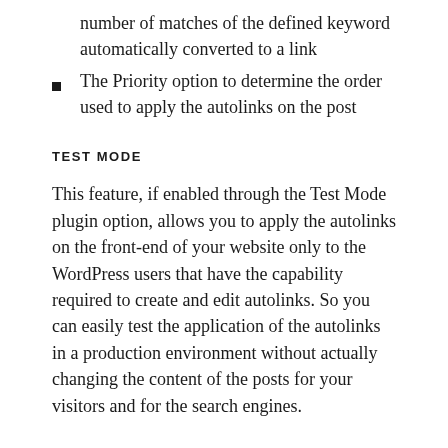number of matches of the defined keyword automatically converted to a link
The Priority option to determine the order used to apply the autolinks on the post
TEST MODE
This feature, if enabled through the Test Mode plugin option, allows you to apply the autolinks on the front-end of your website only to the WordPress users that have the capability required to create and edit autolinks. So you can easily test the application of the autolinks in a production environment without actually changing the content of the posts for your visitors and for the search engines.
RANDOM PRIORITIZATION
The advanced Random Prioritization option is